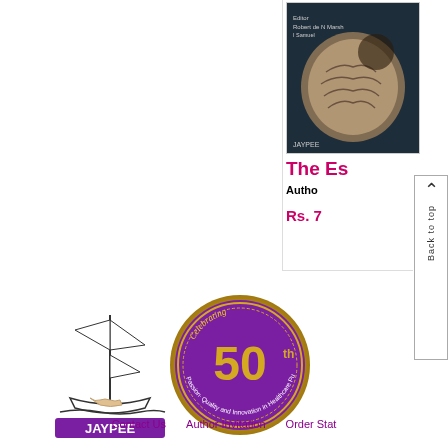[Figure (photo): Book cover showing a brain MRI scan image on dark background, published by JAYPEE]
The Es...
Author...
Rs. 7...
[Figure (logo): Jaypee Publishers logo with ship illustration and 'Celebrating 50 years - Passion, Quality and Innovation in Healthcare Publishing' gold medallion badge]
Contact Us   Author Invitation   Order Stat...